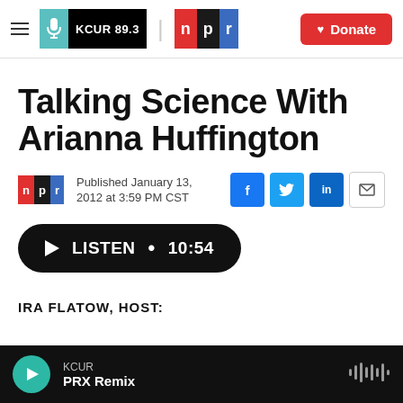KCUR 89.3 | npr | Donate
Talking Science With Arianna Huffington
Published January 13, 2012 at 3:59 PM CST
[Figure (other): Listen button: LISTEN • 10:54]
IRA FLATOW, HOST:
KCUR PRX Remix